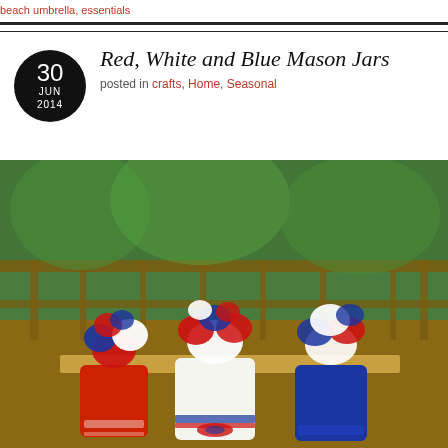beach umbrella, essentials
Red, White and Blue Mason Jars
posted in crafts, Home, Seasonal
[Figure (photo): Three painted mason jars filled with red, white, and blue artificial flowers sitting on a wooden deck railing with green trees in the background. The left jar is red, the center jar is white with a ribbon, and the right jar is blue with glitter.]